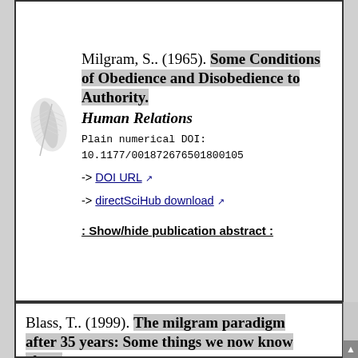Milgram, S.. (1965). Some Conditions of Obedience and Disobedience to Authority. Human Relations
Plain numerical DOI:
10.1177/001872676501800105
-> DOI URL
-> directSciHub download
: Show/hide publication abstract :
Blass, T.. (1999). The milgram paradigm after 35 years: Some things we now know about